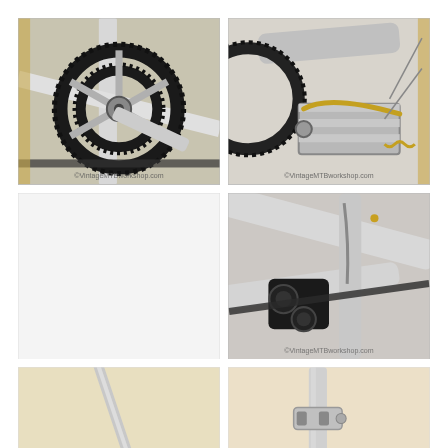[Figure (photo): Close-up of a vintage mountain bike chainring/crankset with double black chainrings and silver crank arm. Chain visible. Watermark: ©VintageMTBworkshop.com]
[Figure (photo): Close-up of a vintage bicycle pedal with toe clip/cage, silver aluminum construction, spring visible. Partial view of chainring and tire. Watermark: ©VintageMTBworkshop.com]
[Figure (photo): Blank/mostly white image panel (bottom-left of middle row)]
[Figure (photo): Close-up of vintage mountain bike frame junction showing chain, rear derailleur area, silver/white frame tubes meeting. Watermark: ©VintageMTBworkshop.com]
[Figure (photo): Partial view of vintage bicycle component, warm beige/cream background, thin silver tube visible]
[Figure (photo): Partial view of vintage bicycle component, cream background, silver/chrome clamp or brake component visible]